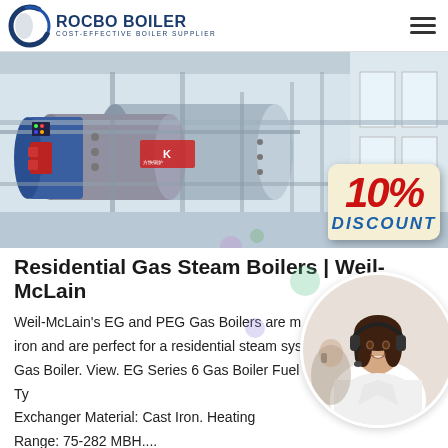[Figure (logo): Rocbo Boiler logo with circular arc icon and text 'ROCBO BOILER / COST-EFFECTIVE BOILER SUPPLIER']
[Figure (photo): Industrial gas steam boilers in a factory/warehouse setting with a 10% Discount badge overlay]
Residential Gas Steam Boilers | Weil-McLain
Weil-McLain's EG and PEG Gas Boilers are made of cast iron and are perfect for a residential steam system... Gas Boiler. View. EG Series 6 Gas Boiler Fuel Type... Exchanger Material: Cast Iron. Heating Range: 75-282 MBH....